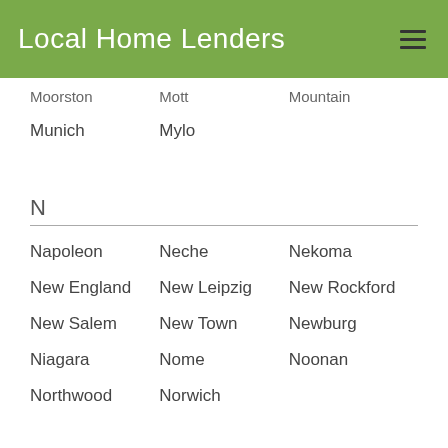Local Home Lenders
Moorston   Mott   Mountain
Munich   Mylo
N
Napoleon   Neche   Nekoma
New England   New Leipzig   New Rockford
New Salem   New Town   Newburg
Niagara   Nome   Noonan
Northwood   Norwich
O
O...   Ol...   Oi...